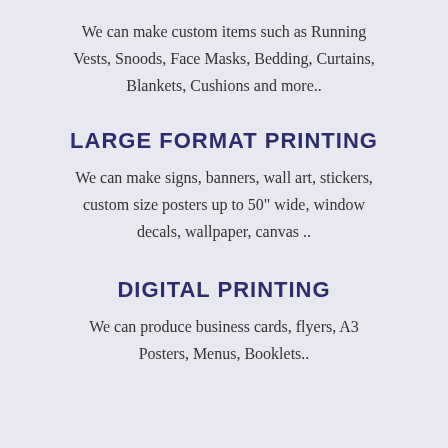We can make custom items such as Running Vests, Snoods, Face Masks, Bedding, Curtains, Blankets, Cushions and more..
LARGE FORMAT PRINTING
We can make signs, banners, wall art, stickers, custom size posters up to 50" wide, window decals, wallpaper, canvas ..
DIGITAL PRINTING
We can produce business cards, flyers, A3 Posters, Menus, Booklets..